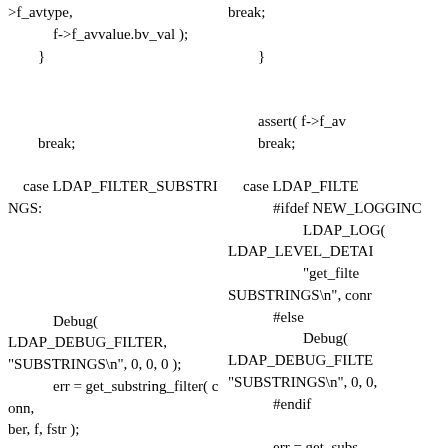>f_avtype,
            f->f_avvalue.bv_val );
        }


        break;

    case LDAP_FILTER_SUBSTRINGS:






            Debug(
LDAP_DEBUG_FILTER,
"SUBSTRINGS\n", 0, 0, 0 );
            err = get_substring_filter( conn,
ber, f, fstr );

        break;

    case LDAP_FILTER_GE:
break;

        }


        assert( f->f_av
        break;

    case LDAP_FILTE
            #ifdef NEW_LOGGINC
                    LDAP_LOG(
LDAP_LEVEL_DETAI
                    "get_filte
SUBSTRINGS\n", conr
            #else
                    Debug(
LDAP_DEBUG_FILTE
"SUBSTRINGS\n", 0, 0,
            #endif

            err = get_subs
ber, f, text );
                break;

    case LDAP_FILTE
#ifdef NEW_LOGGINC